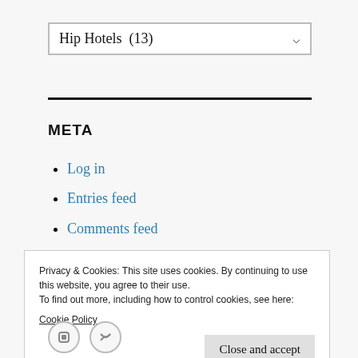Hip Hotels  (13) [dropdown]
META
Log in
Entries feed
Comments feed
WordPress.org
Privacy & Cookies: This site uses cookies. By continuing to use this website, you agree to their use.
To find out more, including how to control cookies, see here:
Cookie Policy
Close and accept